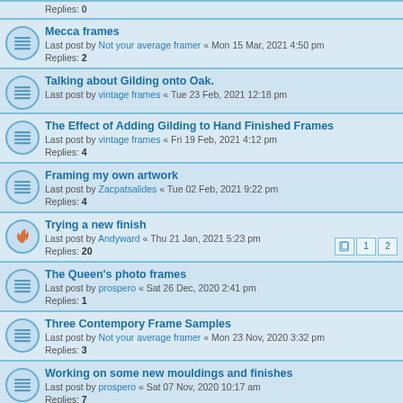Replies: 0
Mecca frames
Last post by Not your average framer « Mon 15 Mar, 2021 4:50 pm
Replies: 2
Talking about Gilding onto Oak.
Last post by vintage frames « Tue 23 Feb, 2021 12:18 pm
The Effect of Adding Gilding to Hand Finished Frames
Last post by vintage frames « Fri 19 Feb, 2021 4:12 pm
Replies: 4
Framing my own artwork
Last post by Zacpatsalides « Tue 02 Feb, 2021 9:22 pm
Replies: 4
Trying a new finish
Last post by Andyward « Thu 21 Jan, 2021 5:23 pm
Replies: 20
The Queen's photo frames
Last post by prospero « Sat 26 Dec, 2020 2:41 pm
Replies: 1
Three Contempory Frame Samples
Last post by Not your average framer « Mon 23 Nov, 2020 3:32 pm
Replies: 3
Working on some new mouldings and finishes
Last post by prospero « Sat 07 Nov, 2020 10:17 am
Replies: 7
Framers Confessions: Things that went horribly wrong (but were salvaged)
Last post by prospero « Mon 02 Nov, 2020 5:42 pm